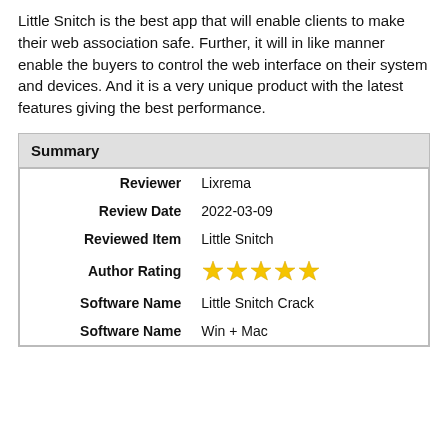Little Snitch is the best app that will enable clients to make their web association safe. Further, it will in like manner enable the buyers to control the web interface on their system and devices. And it is a very unique product with the latest features giving the best performance.
| Summary |
| --- |
| Reviewer | Lixrema |
| Review Date | 2022-03-09 |
| Reviewed Item | Little Snitch |
| Author Rating | ★★★★★ |
| Software Name | Little Snitch Crack |
| Software Name | Win + Mac |